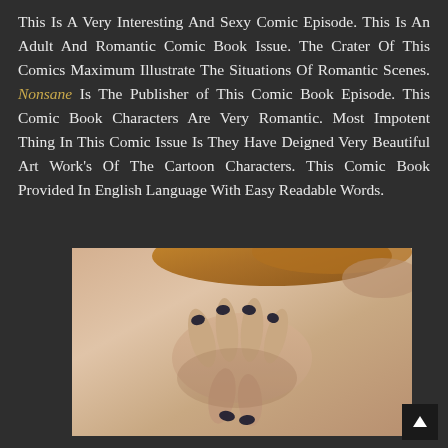This Is A Very Interesting And Sexy Comic Episode. This Is An Adult And Romantic Comic Book Issue. The Crater Of This Comics Maximum Illustrate The Situations Of Romantic Scenes. Nonsane Is The Publisher of This Comic Book Episode. This Comic Book Characters Are Very Romantic. Most Impotent Thing In This Comic Issue Is They Have Deigned Very Beautiful Art Work's Of The Cartoon Characters. This Comic Book Provided In English Language With Easy Readable Words.
[Figure (photo): A close-up photograph showing a person's hands with dark nail polish against skin tones, appearing to be from an adult comic book advertisement.]